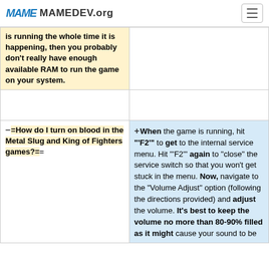MAMEDEV.org
| is running the whole time it is happening, then you probably don't really have enough available RAM to run the game on your system. |  |
|  |  |
| –==How do I turn on blood in the Metal Slug and King of Fighters games?== | +When the game is running, hit "'F2'" to get to the internal service menu.  Hit "'F2'" again to "close" the service switch so that you won't get stuck in the menu.  Now, navigate to the "Volume Adjust" option (following the directions provided) and adjust the volume.  It's best to keep the volume no more than 80-90% filled as it might cause your sound to be |